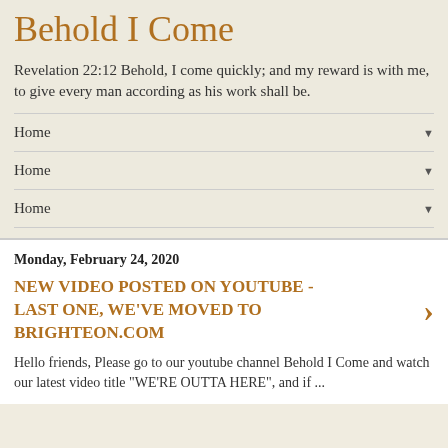Behold I Come
Revelation 22:12 Behold, I come quickly; and my reward is with me, to give every man according as his work shall be.
Home
Home
Home
Monday, February 24, 2020
NEW VIDEO POSTED ON YOUTUBE - LAST ONE, WE'VE MOVED TO BRIGHTEON.COM
Hello friends,  Please go to our youtube channel Behold I Come and watch our latest video title "WE'RE OUTTA HERE", and if ...